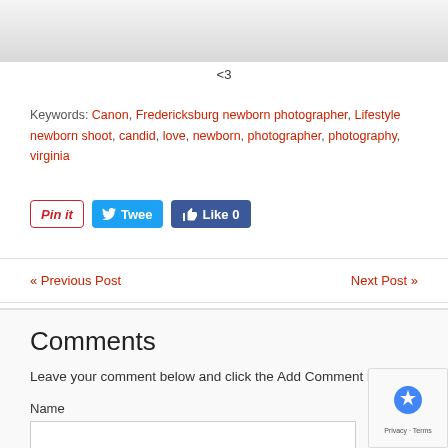[Figure (photo): Partial view of a photo strip at the top of the page, showing a cropped image with light background]
<3
Keywords: Canon, Fredericksburg newborn photographer, Lifestyle newborn shoot, candid, love, newborn, photographer, photography, virginia
[Figure (screenshot): Social share buttons: Pin It, Tweet, Like 0]
« Previous Post    Next Post »
Comments
Leave your comment below and click the Add Comment button
Name